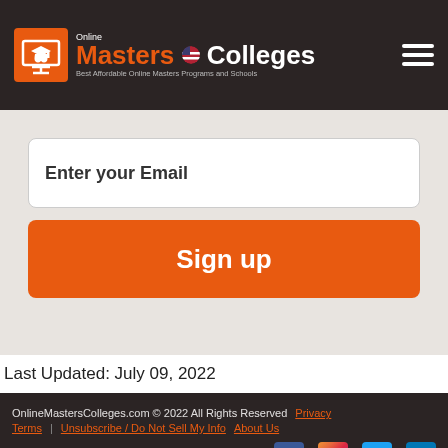[Figure (logo): Online Masters Colleges logo with graduation cap icon, orange 'Masters' text, white 'Colleges' text, and tagline 'Best Affordable Online Masters Programs and Schools']
Enter your Email
Sign up
Last Updated: July 09, 2022
OnlineMastersColleges.com © 2022 All Rights Reserved  Privacy  Terms  Unsubscribe / Do Not Sell My Info  About Us